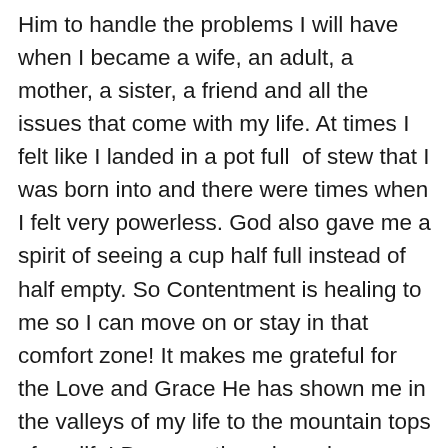Him to handle the problems I will have when I became a wife, an adult, a mother, a sister, a friend and all the issues that come with my life. At times I felt like I landed in a pot full  of stew that I was born into and there were times when I felt very powerless. God also gave me a spirit of seeing a cup half full instead of half empty. So Contentment is healing to me so I can move on or stay in that comfort zone! It makes me grateful for the Love and Grace He has shown me in the valleys of my life to the mountain tops of my life! Because there have been many times I chose not to be content and reach out to something or someone for all the wrong reasons. I have had many seasons, I hope I can share some of these seasons of my life with you. It is good for me and I